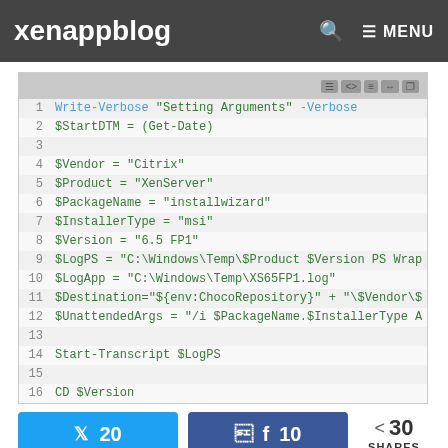xenappblog
[Figure (screenshot): Code editor showing PowerShell script lines 1-21 with syntax highlighting. Blue keywords and green strings/variables on light gray background. Lines shown: Write-Verbose "Setting Arguments" -Verbose, $StartDTM = (Get-Date), $Vendor = "Citrix", $Product = "XenServer", $PackageName = "installwizard", $InstallerType = "msi", $Version = "6.5 FP1", $LogPS = "C:\Windows\Temp\$Product $Version PS Wrap..., $LogApp = "C:\Windows\Temp\XS65FP1.log", $Destination="${env:ChocoRepository}" + "\$Vendor\$..., $UnattendedArgs = "/i $PackageName.$InstallerType A..., Start-Transcript $LogPS, CD $Version, Write-Verbose "Starting Installation of $Vendor $Pr..., (Start-Process msiexec.exe -ArgumentList $Unattende..., Write-Verbose "Customization" -Verbose]
20 Twitter shares, 10 Facebook shares, 30 total shares